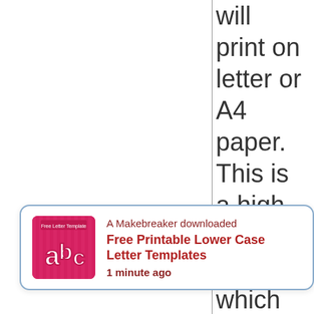will print on letter or A4 paper. This is a high resolution image which will give you rb ts printed.
[Figure (screenshot): Notification card: A Makebreaker downloaded Free Printable Lower Case Letter Templates 1 minute ago, with ABC thumbnail icon on pink background]